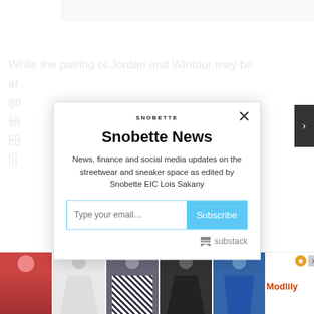[Figure (screenshot): Background article page partially obscured by modal popup. Article text visible on left side in gray, beginning with 'While the pairing of Jordan and Wintour may be an... go... sa... co... in... Th... 21... ar... Yo... Ch... Se... Check out images of the shoes below, along w... m...']
[Figure (screenshot): Newsletter subscription modal popup with Snobette logo at top, title 'Snobette News', description text, email input field, Subscribe button, and Substack branding at bottom right. Close X button in top right corner.]
[Figure (screenshot): Bottom advertisement banner showing clothing images from ModLily with orange/white/gray color scheme and close/info icons.]